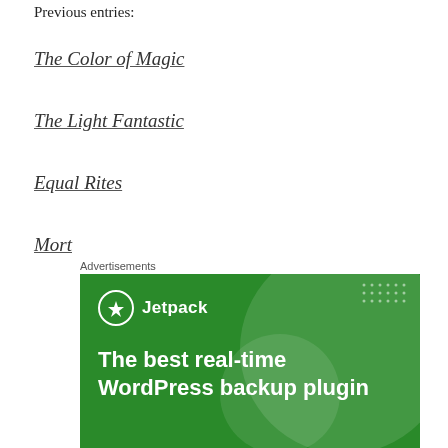Previous entries:
The Color of Magic
The Light Fantastic
Equal Rites
Mort
Advertisements
[Figure (infographic): Jetpack advertisement banner with green background, Jetpack logo, and text: The best real-time WordPress backup plugin]